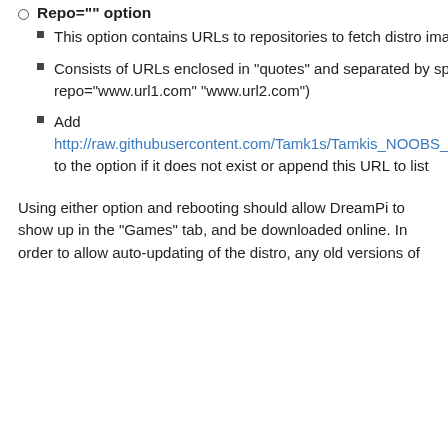Repo="" option
This option contains URLs to repositories to fetch distro images
Consists of URLs enclosed in "quotes" and separated by spaces. (E.g. repo="www.url1.com" "www.url2.com")
Add http://raw.githubusercontent.com/Tamk1s/Tamkis_NOOBS_Repo/main/os_list_v3.json to the option if it does not exist or append this URL to list
Using either option and rebooting should allow DreamPi to show up in the "Games" tab, and be downloaded online. In order to allow auto-updating of the distro, any old versions of